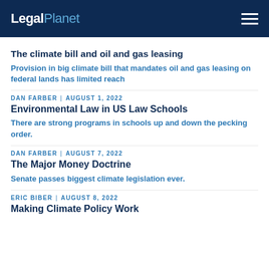LegalPlanet
The climate bill and oil and gas leasing
Provision in big climate bill that mandates oil and gas leasing on federal lands has limited reach
DAN FARBER | AUGUST 1, 2022
Environmental Law in US Law Schools
There are strong programs in schools up and down the pecking order.
DAN FARBER | AUGUST 7, 2022
The Major Money Doctrine
Senate passes biggest climate legislation ever.
ERIC BIBER | AUGUST 8, 2022
Making Climate Policy Work